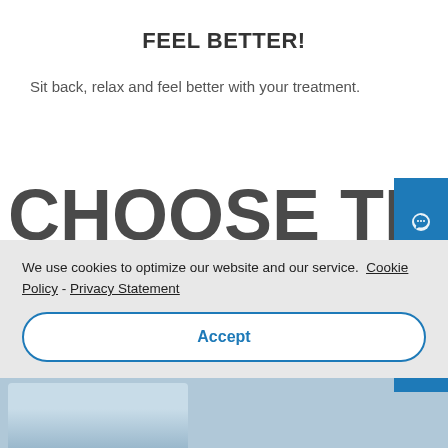FEEL BETTER!
Sit back, relax and feel better with your treatment.
CHOOSE THE IV DRIP FOR YOUR
[Figure (infographic): Blue side panel with chat bubble, phone, and email icons]
We use cookies to optimize our website and our service.  Cookie Policy - Privacy Statement
Accept
[Figure (photo): Bottom partial photo strip showing a person with blonde hair]